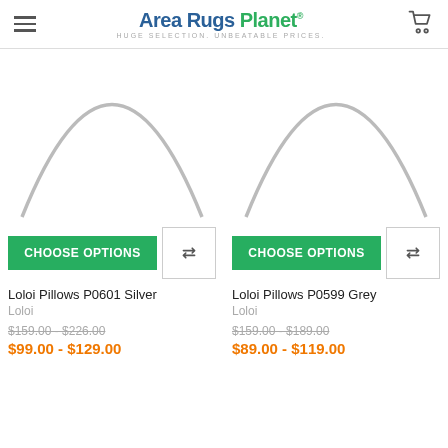Area Rugs Planet — HUGE SELECTION. UNBEATABLE PRICES.
[Figure (illustration): Product image placeholder for Loloi Pillows P0601 Silver — circular loading arc graphic]
CHOOSE OPTIONS
Loloi Pillows P0601 Silver
Loloi
$159.00 - $226.00
$99.00 - $129.00
[Figure (illustration): Product image placeholder for Loloi Pillows P0599 Grey — circular loading arc graphic]
CHOOSE OPTIONS
Loloi Pillows P0599 Grey
Loloi
$159.00 - $189.00
$89.00 - $119.00